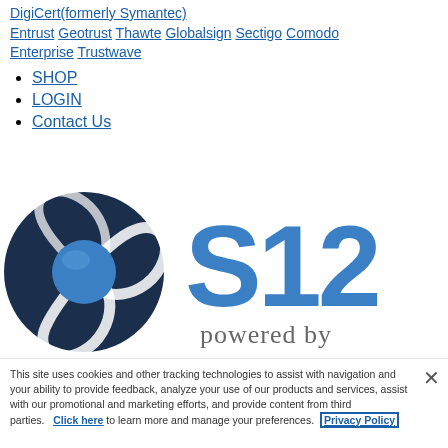DigiCert(formerly Symantec) Entrust Geotrust Thawte Globalsign Sectigo Comodo Enterprise Trustwave
SHOP
LOGIN
Contact Us
[Figure (logo): S12 logo with swirl icon and 'powered by' text]
This site uses cookies and other tracking technologies to assist with navigation and your ability to provide feedback, analyze your use of our products and services, assist with our promotional and marketing efforts, and provide content from third parties.   Click here to learn more and manage your preferences.  Privacy Policy